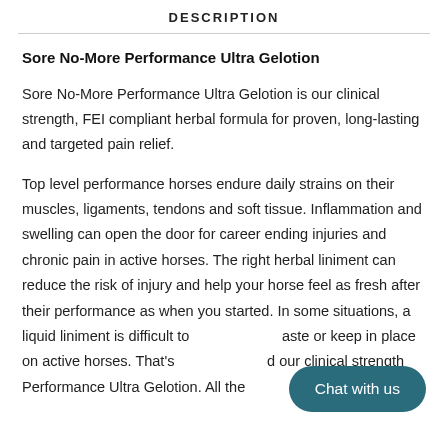DESCRIPTION
Sore No-More Performance Ultra Gelotion
Sore No-More Performance Ultra Gelotion is our clinical strength, FEI compliant herbal formula for proven, long-lasting and targeted pain relief.
Top level performance horses endure daily strains on their muscles, ligaments, tendons and soft tissue. Inflammation and swelling can open the door for career ending injuries and chronic pain in active horses. The right herbal liniment can reduce the risk of injury and help your horse feel as fresh after their performance as when you started. In some situations, a liquid liniment is difficult to paste or keep in place on active horses. That's d our clinical strength Performance Ultra Gelotion. All the